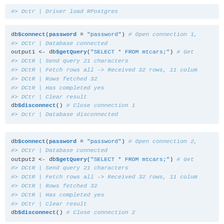#> Dctr | Driver load RPostgres
db$connect(password = "password") # Open connection 1,
#> DCtr | Database connected
output1 <- db$getQuery("SELECT * FROM mtcars;") # Get
#> DCtR | Send query 21 characters
#> DCtR | Fetch rows all -> Received 32 rows, 11 colum
#> DCtR | Rows fetched 32
#> DCtR | Has completed yes
#> DCtr | Clear result
db$disconnect() # Close connection 1
#> Dctr | Database disconnected
db$connect(password = "password") # Open connection 2,
#> DCtr | Database connected
output2 <- db$getQuery("SELECT * FROM mtcars;") # Get
#> DCtR | Send query 21 characters
#> DCtR | Fetch rows all -> Received 32 rows, 11 colum
#> DCtR | Rows fetched 32
#> DCtR | Has completed yes
#> DCtr | Clear result
db$disconnect() # Close connection 2